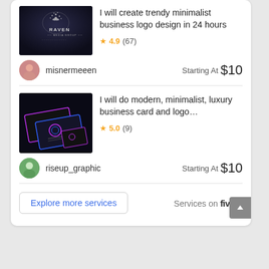[Figure (screenshot): Fiverr marketplace listing card showing two freelance design services with thumbnails, ratings, seller info, and pricing]
I will create trendy minimalist business logo design in 24 hours
★ 4.9 (67)
misnermeeen   Starting At  $10
I will do modern, minimalist, luxury business card and logo…
★ 5.0 (9)
riseup_graphic   Starting At  $10
Explore more services
Services on fiverr.